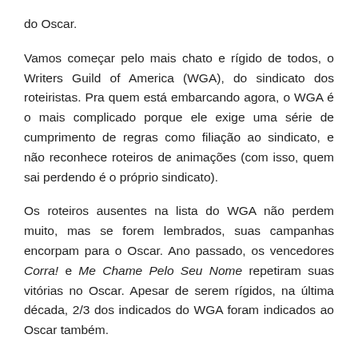do Oscar.
Vamos começar pelo mais chato e rígido de todos, o Writers Guild of America (WGA), do sindicato dos roteiristas. Pra quem está embarcando agora, o WGA é o mais complicado porque ele exige uma série de cumprimento de regras como filiação ao sindicato, e não reconhece roteiros de animações (com isso, quem sai perdendo é o próprio sindicato).
Os roteiros ausentes na lista do WGA não perdem muito, mas se forem lembrados, suas campanhas encorpam para o Oscar. Ano passado, os vencedores Corra! e Me Chame Pelo Seu Nome repetiram suas vitórias no Oscar. Apesar de serem rígidos, na última década, 2/3 dos indicados do WGA foram indicados ao Oscar também.